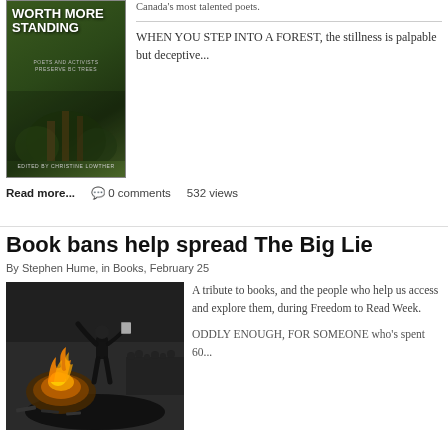[Figure (photo): Book cover: 'Worth More Standing', edited by Christine Lowther, showing forest imagery]
Canada's most talented poets.
WHEN YOU STEP INTO A FOREST, the stillness is palpable but deceptive...
Read more... 💬 0 comments   532 views
Book bans help spread The Big Lie
By Stephen Hume, in Books, February 25
[Figure (photo): Black and white historical photo of a person throwing books into a fire/book burning scene]
A tribute to books, and the people who help us access and explore them, during Freedom to Read Week.
ODDLY ENOUGH, FOR SOMEONE who's spent 60...